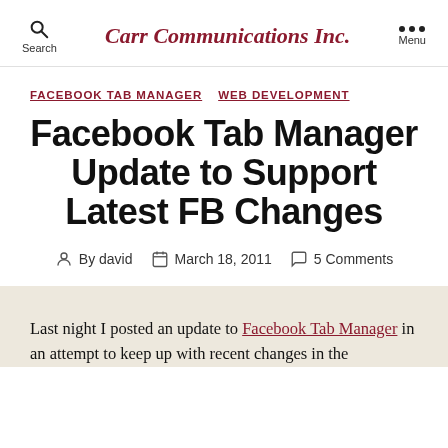Carr Communications Inc.
FACEBOOK TAB MANAGER  WEB DEVELOPMENT
Facebook Tab Manager Update to Support Latest FB Changes
By david  March 18, 2011  5 Comments
Last night I posted an update to Facebook Tab Manager in an attempt to keep up with recent changes in the